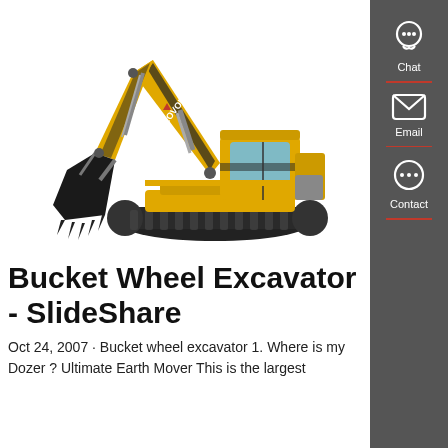[Figure (photo): Yellow Lovol tracked excavator/hydraulic crawler excavator on white background, with boom arm extended and bucket lowered.]
Bucket Wheel Excavator - SlideShare
Oct 24, 2007 · Bucket wheel excavator 1. Where is my Dozer ? Ultimate Earth Mover This is the largest
[Figure (infographic): Sidebar with three contact icons and labels: Chat (headset icon), Email (envelope icon), Contact (speech bubble with dots icon), separated by red horizontal lines.]